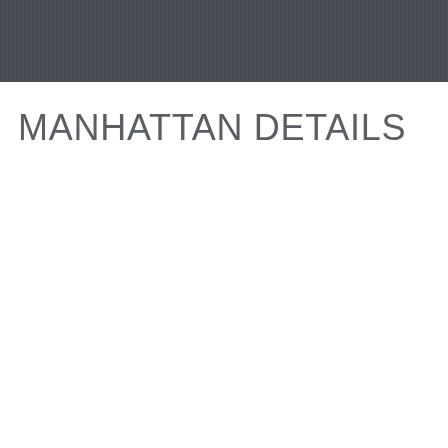[Figure (other): Dark gray striped horizontal header bar spanning the full width of the page]
MANHATTAN DETAILS